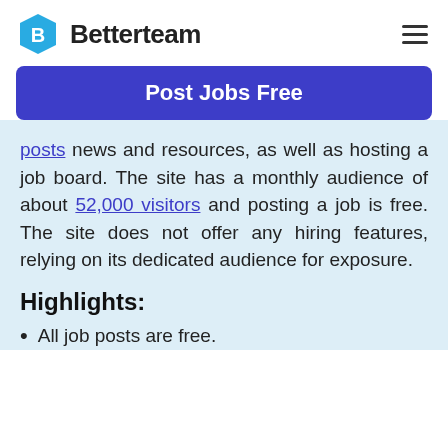Betterteam
[Figure (logo): Betterteam logo with blue hexagon icon and wordmark, plus hamburger menu icon on the right]
Post Jobs Free
posts news and resources, as well as hosting a job board. The site has a monthly audience of about 52,000 visitors and posting a job is free. The site does not offer any hiring features, relying on its dedicated audience for exposure.
Highlights:
All job posts are free.